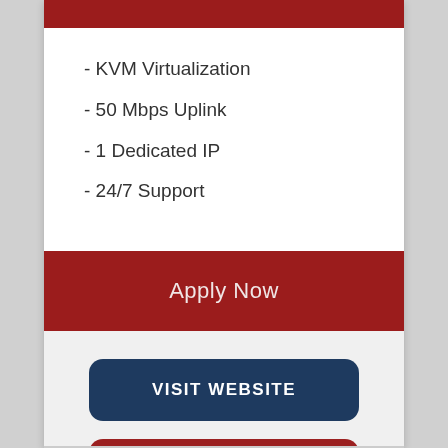- KVM Virtualization
- 50 Mbps Uplink
- 1 Dedicated IP
- 24/7 Support
Apply Now
VISIT WEBSITE
READ REVIEWS